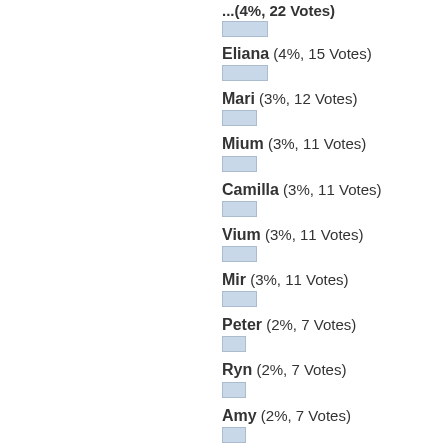(4%, 15 Votes) - Eliana
Mari (3%, 12 Votes)
Mium (3%, 11 Votes)
Camilla (3%, 11 Votes)
Vium (3%, 11 Votes)
Mir (3%, 11 Votes)
Peter (2%, 7 Votes)
Ryn (2%, 7 Votes)
Amy (2%, 7 Votes)
Artem (2%, 7 Votes)
Mione (2%, 7 Votes)
Miss Holmgren (1%, 6 Votes)
Rovak (1%, 6 Votes)
Arkady (1%, 6 Votes)
Magnolia (1%, 6 Votes)